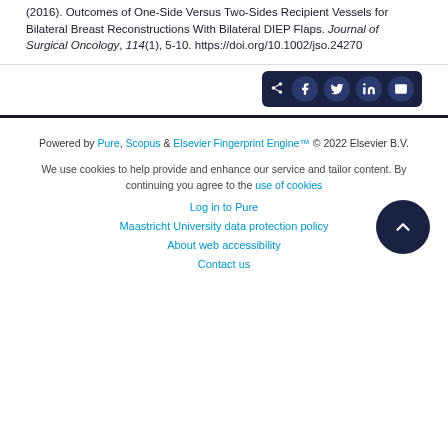(2016). Outcomes of One-Side Versus Two-Sides Recipient Vessels for Bilateral Breast Reconstructions With Bilateral DIEP Flaps. Journal of Surgical Oncology, 114(1), 5-10. https://doi.org/10.1002/jso.24270
[Figure (other): Social share button bar with icons for Facebook, Twitter, LinkedIn, and email on dark navy background]
Powered by Pure, Scopus & Elsevier Fingerprint Engine™ © 2022 Elsevier B.V.
We use cookies to help provide and enhance our service and tailor content. By continuing you agree to the use of cookies
Log in to Pure
Maastricht University data protection policy
About web accessibility
Contact us